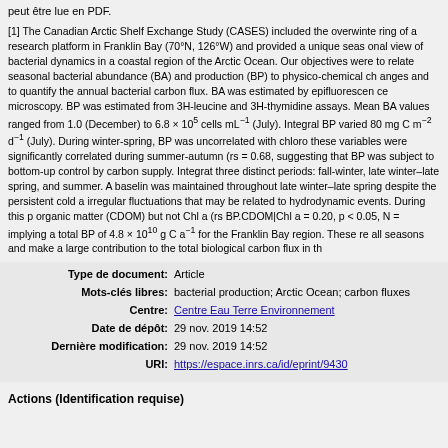peut être lue en PDF.
[1] The Canadian Arctic Shelf Exchange Study (CASES) included the overwintering of a research platform in Franklin Bay (70°N, 126°W) and provided a unique seasonal view of bacterial dynamics in a coastal region of the Arctic Ocean. Our objectives were to relate seasonal bacterial abundance (BA) and production (BP) to physico-chemical changes and to quantify the annual bacterial carbon flux. BA was estimated by epifluorescence microscopy. BP was estimated from 3H-leucine and 3H-thymidine assays. Mean BA values ranged from 1.0 (December) to 6.8 × 105 cells mL−1 (July). Integral BP varied 80 mg C m−2 d−1 (July). During winter-spring, BP was uncorrelated with chloro these variables were significantly correlated during summer-autumn (rs = 0.68, suggesting that BP was subject to bottom-up control by carbon supply. Integrat three distinct periods: fall-winter, late winter–late spring, and summer. A baselin was maintained throughout late winter–late spring despite the persistent cold a irregular fluctuations that may be related to hydrodynamic events. During this p organic matter (CDOM) but not Chl a (rs BP.CDOM|Chl a = 0.20, p < 0.05, N = implying a total BP of 4.8 × 1010 g C a−1 for the Franklin Bay region. These re all seasons and make a large contribution to the total biological carbon flux in th
Type de document: Article
Mots-clés libres: bacterial production; Arctic Ocean; carbon fluxes
Centre: Centre Eau Terre Environnement
Date de dépôt: 29 nov. 2019 14:52
Dernière modification: 29 nov. 2019 14:52
URI: https://espace.inrs.ca/id/eprint/9430
Actions (Identification requise)